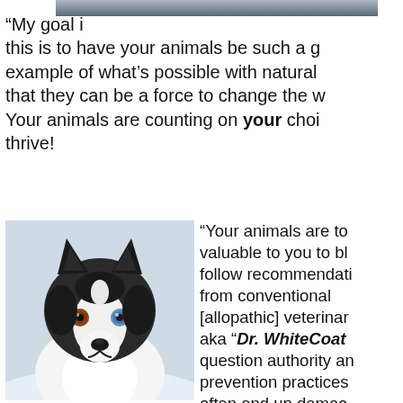[Figure (photo): Top portion of an animal or landscape photo, partially cropped, showing a gray/blue sky or animal fur.]
“My goal in this is to have your animals be such a great example of what’s possible with natural care that they can be a force to change the world. Your animals are counting on your choices to thrive!
[Figure (photo): A black and white Siberian Husky dog with heterochromia (one brown eye, one blue eye), photographed against a snowy background.]
“Your animals are too valuable to you to blindly follow recommendations from conventional [allopathic] veterinarians, aka “Dr. WhiteCoat”. question authority and prevention practices that often end up damaging